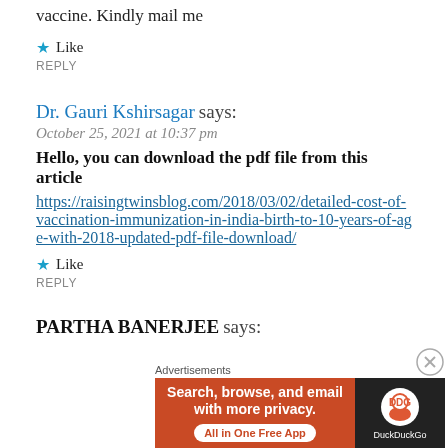vaccine. Kindly mail me
★ Like
REPLY
Dr. Gauri Kshirsagar says:
October 25, 2021 at 10:37 pm
Hello, you can download the pdf file from this article
https://raisingtwinsblog.com/2018/03/02/detailed-cost-of-vaccination-immunization-in-india-birth-to-10-years-of-age-with-2018-updated-pdf-file-download/
★ Like
REPLY
PARTHA BANERJEE says:
[Figure (infographic): DuckDuckGo advertisement banner: 'Search, browse, and email with more privacy. All in One Free App' with DuckDuckGo logo on dark background]